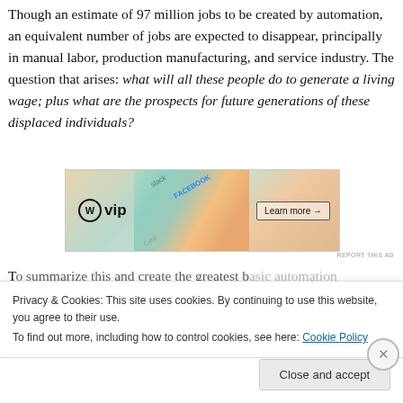Though an estimate of 97 million jobs to be created by automation, an equivalent number of jobs are expected to disappear, principally in manual labor, production manufacturing, and service industry. The question that arises: what will all these people do to generate a living wage; plus what are the prospects for future generations of these displaced individuals?
[Figure (screenshot): WordPress VIP advertisement banner with colorful card-style graphics for Slack, Facebook, and other apps, with a 'Learn more →' button]
To summarize this and create the greatest...
Privacy & Cookies: This site uses cookies. By continuing to use this website, you agree to their use. To find out more, including how to control cookies, see here: Cookie Policy
Close and accept